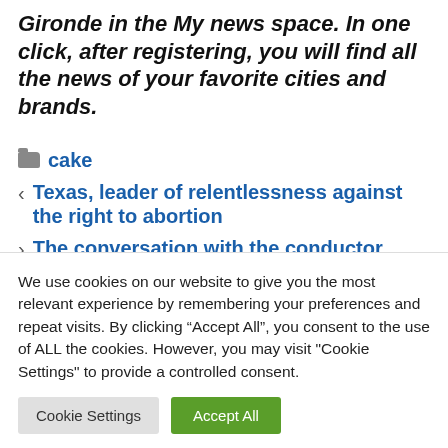Gironde in the My news space. In one click, after registering, you will find all the news of your favorite cities and brands.
cake
Texas, leader of relentlessness against the right to abortion
The conversation with the conductor
We use cookies on our website to give you the most relevant experience by remembering your preferences and repeat visits. By clicking “Accept All”, you consent to the use of ALL the cookies. However, you may visit "Cookie Settings" to provide a controlled consent.